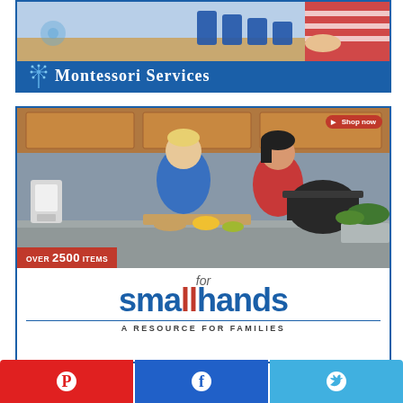[Figure (illustration): Montessori Services advertisement banner. Top portion shows a child's hands with blue cups/cylinders on a light blue background. Bottom portion has dark blue background with dandelion illustration and white text 'Montessori Services'. Red 'Shop now' button in top-right corner.]
[Figure (illustration): For Small Hands advertisement. Top photo shows two children cooking in a kitchen - a blonde boy in blue top and Asian girl in red top. Red 'Shop now' button top-right. Red banner says 'OVER 2500 ITEMS'. Bottom white section shows 'for smallhands - A RESOURCE FOR FAMILIES' with blue and red logo text.]
[Figure (infographic): Three social media share buttons side by side: red Pinterest button with P icon, blue Facebook button with f icon, light blue Twitter button with bird icon.]